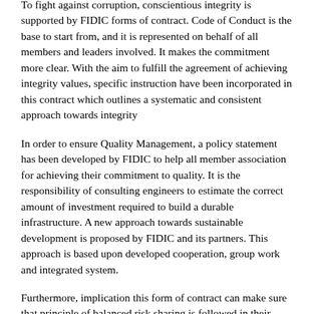To fight against corruption, conscientious integrity is supported by FIDIC forms of contract. Code of Conduct is the base to start from, and it is represented on behalf of all members and leaders involved. It makes the commitment more clear. With the aim to fulfill the agreement of achieving integrity values, specific instruction have been incorporated in this contract which outlines a systematic and consistent approach towards integrity
In order to ensure Quality Management, a policy statement has been developed by FIDIC to help all member association for achieving their commitment to quality. It is the responsibility of consulting engineers to estimate the correct amount of investment required to build a durable infrastructure. A new approach towards sustainable development is proposed by FIDIC and its partners. This approach is based upon developed cooperation, group work and integrated system.
Furthermore, implication this form of contract can make sure that principle of balanced risk sharing is followed in their contracts, which is accepted by employers and contractors (Osinski, 2002). General conditions are designed for the ease of users. Provisions which are not supported by the users can be removed. Therefore some conditions which are against a typical contract are observed as a part of general conditions. The main aim is to provide users and those who prepare